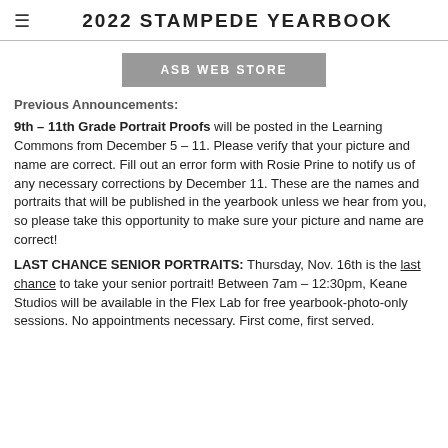2022 STAMPEDE YEARBOOK
[Figure (other): Gray button labeled 'ASB WEB STORE']
Previous Announcements:
9th – 11th Grade Portrait Proofs will be posted in the Learning Commons from December 5 – 11. Please verify that your picture and name are correct. Fill out an error form with Rosie Prine to notify us of any necessary corrections by December 11. These are the names and portraits that will be published in the yearbook unless we hear from you, so please take this opportunity to make sure your picture and name are correct!
LAST CHANCE SENIOR PORTRAITS: Thursday, Nov. 16th is the last chance to take your senior portrait! Between 7am – 12:30pm, Keane Studios will be available in the Flex Lab for free yearbook-photo-only sessions. No appointments necessary. First come, first served.